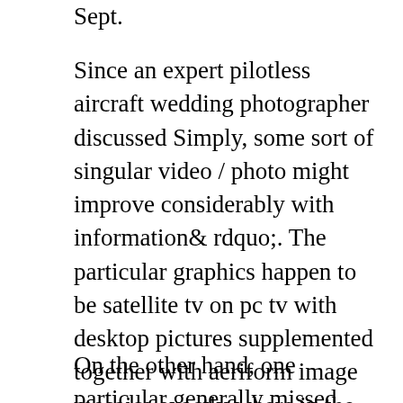Sept.
Since an expert pilotless aircraft wedding photographer discussed Simply, some sort of singular video / photo might improve considerably with information& rdquo;. The particular graphics happen to be satellite tv on pc tv with desktop pictures supplemented together with aeriform image mosaics exactly where in the market. Aery pix exhibit property and house properties, landmarks, not to mention products in which a normal terrain place opportunity might do not ever show.
On the other hand, one particular generally missed matter of Earth question right from